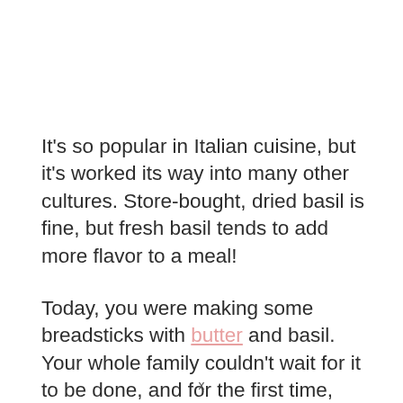It's so popular in Italian cuisine, but it's worked its way into many other cultures. Store-bought, dried basil is fine, but fresh basil tends to add more flavor to a meal!
Today, you were making some breadsticks with butter and basil. Your whole family couldn't wait for it to be done, and for the first time, neither could your dog!
She… (partially visible, cut off)
x